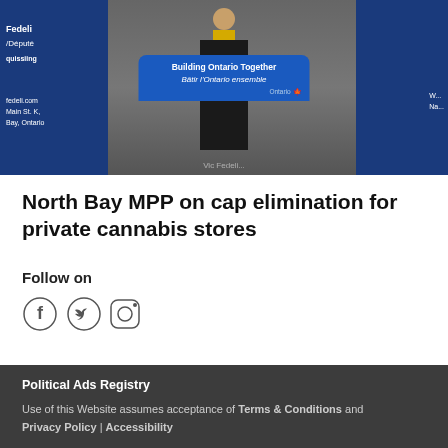[Figure (photo): A person standing at a podium with a 'Building Ontario Together / Bâtir l'Ontario ensemble' sign in a factory or industrial setting, with blue Ontario government banners on either side.]
North Bay MPP on cap elimination for private cannabis stores
Follow on
[Figure (illustration): Social media icons: Facebook, Twitter, Instagram]
Political Ads Registry
Use of this Website assumes acceptance of Terms & Conditions and Privacy Policy | Accessibility